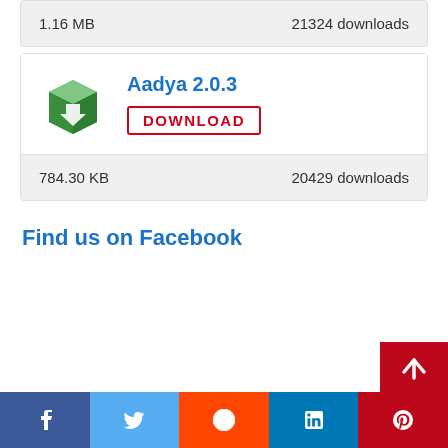1.16 MB    21324 downloads
Aadya 2.0.3
DOWNLOAD
784.30 KB    20429 downloads
Find us on Facebook
[Figure (other): Social media footer bar with Facebook, Twitter, Reddit, LinkedIn, Pinterest buttons and scroll-to-top arrow]